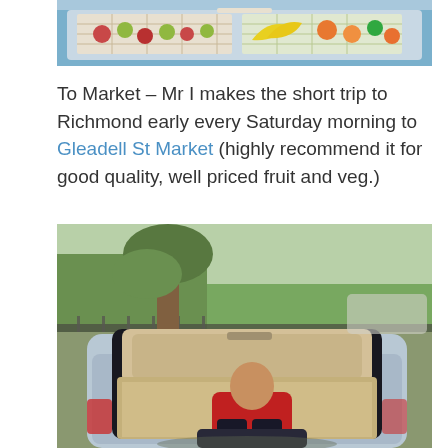[Figure (photo): Top-down view of open car trunk with grocery baskets containing fruit and vegetables including apples, bananas, and oranges]
To Market – Mr I makes the short trip to Richmond early every Saturday morning to Gleadell St Market (highly recommend it for good quality, well priced fruit and veg.)
[Figure (photo): Child sitting in open car trunk/boot of a silver hatchback car in a park, with trees and a fence visible in the background]